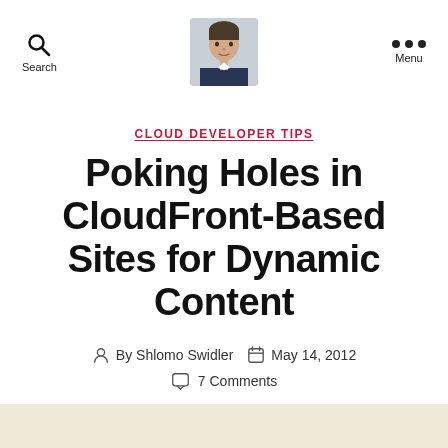Search | [avatar photo] | Menu
CLOUD DEVELOPER TIPS
Poking Holes in CloudFront-Based Sites for Dynamic Content
By Shlomo Swidler   May 14, 2012   7 Comments